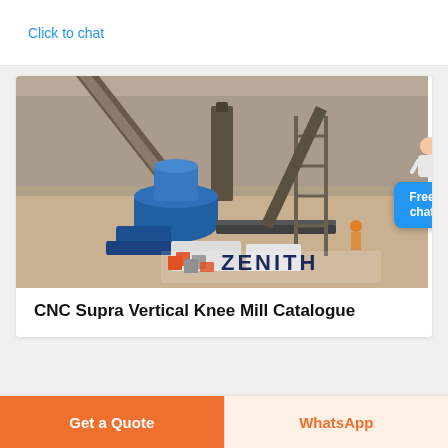Click to chat
[Figure (photo): Aerial/overhead view of a Zenith industrial mining/crushing plant with heavy equipment, conveyors, and machinery on a construction site. Zenith company logo visible at bottom of image.]
CNC Supra Vertical Knee Mill Catalogue
Get a Quote
WhatsApp